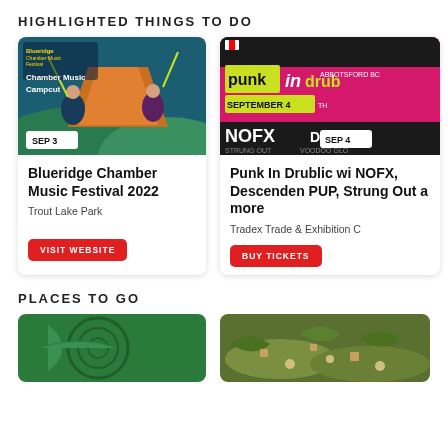HIGHLIGHTED THINGS TO DO
[Figure (photo): Blueridge Chamber Music Festival illustrated poster showing musicians playing instruments with colorful background, date badge SEP 3]
Blueridge Chamber Music Festival 2022
Trout Lake Park
VISIT WEBSITE
[Figure (photo): Punk In Drublic festival poster with pink/black design showing NOFX, Descendents, PUP, Strung Out text, date badge SEP 4]
Punk In Drublic wi NOFX, Descenden PUP, Strung Out a more
Tradex Trade & Exhibition C
BUY TICKETS
PLACES TO GO
[Figure (photo): Green background with circular design element]
[Figure (photo): Food photo showing salad with greens and toppings]